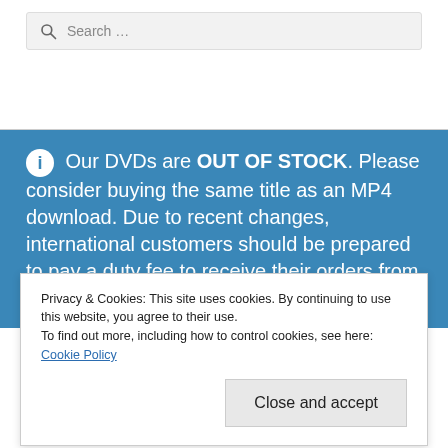[Figure (screenshot): Search bar with magnifying glass icon and placeholder text 'Search ...' on a light grey background]
Our DVDs are OUT OF STOCK. Please consider buying the same title as an MP4 download. Due to recent changes, international customers should be prepared to pay a duty fee to receive their orders from their customs
Privacy & Cookies: This site uses cookies. By continuing to use this website, you agree to their use.
To find out more, including how to control cookies, see here: Cookie Policy
Close and accept